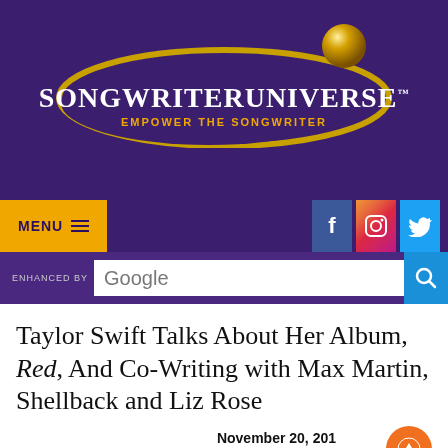[Figure (logo): SongwriterUniverse logo with purple ellipse, gold orbit ring, gold sphere, white bold text SONGWRITERUNIVERSE TM, and gold subtitle EMPOWER THE SONGWRITER]
MENU | Facebook | Instagram | Twitter
ENHANCED BY Google
Taylor Swift Talks About Her Album, Red, And Co-Writing with Max Martin, Shellback and Liz Rose
November 20, 2012
Tweet
By Bill Conger